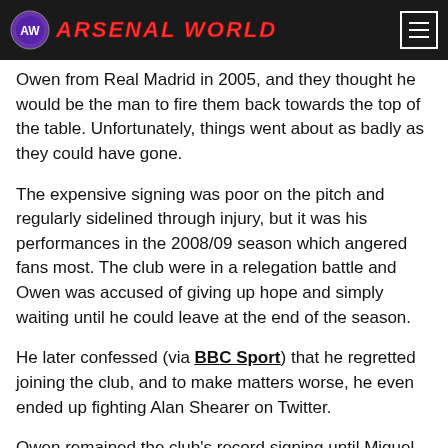ARSENAL WORLD
Owen from Real Madrid in 2005, and they thought he would be the man to fire them back towards the top of the table. Unfortunately, things went about as badly as they could have gone.
The expensive signing was poor on the pitch and regularly sidelined through injury, but it was his performances in the 2008/09 season which angered fans most. The club were in a relegation battle and Owen was accused of giving up hope and simply waiting until he could leave at the end of the season.
He later confessed (via BBC Sport) that he regretted joining the club, and to make matters worse, he even ended up fighting Alan Shearer on Twitter.
Owen remained the club's record signing until Miguel Almiron and Joelinton arrived in back to back windows in